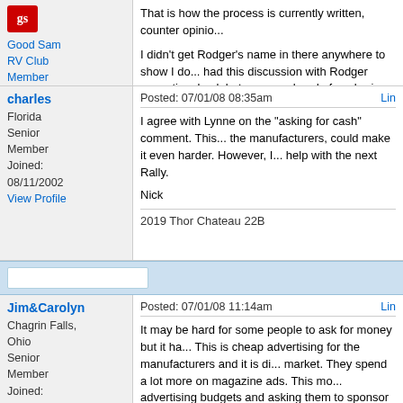Good Sam RV Club Member
That is how the process is currently written, counter opinio... I didn't get Rodger's name in there anywhere to show I do... had this discussion with Rodger some time back but some... ahead of my brain.
charles
Florida
Senior Member
Joined: 08/11/2002
View Profile
Posted: 07/01/08 08:35am
I agree with Lynne on the "asking for cash" comment. This... the manufacturers, could make it even harder. However, I... help with the next Rally.

Nick
2019 Thor Chateau 22B
Jim&Carolyn
Chagrin Falls, Ohio
Senior Member
Joined: 05/01/2003
Posted: 07/01/08 11:14am
It may be hard for some people to ask for money but it ha... This is cheap advertising for the manufacturers and it is di... market. They spend a lot more on magazine ads. This mo... advertising budgets and asking them to sponsor a specific... different than selling them ad space in a magazine except... for their buck with us.